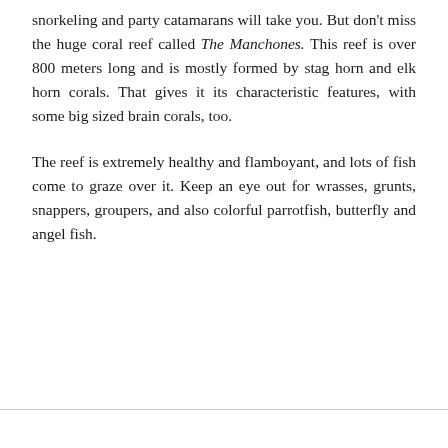snorkeling and party catamarans will take you. But don't miss the huge coral reef called The Manchones. This reef is over 800 meters long and is mostly formed by stag horn and elk horn corals. That gives it its characteristic features, with some big sized brain corals, too.
The reef is extremely healthy and flamboyant, and lots of fish come to graze over it. Keep an eye out for wrasses, grunts, snappers, groupers, and also colorful parrotfish, butterfly and angel fish.